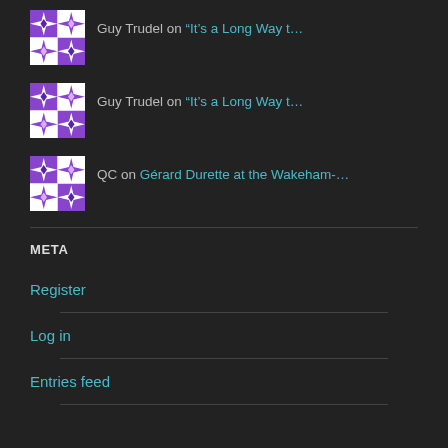Guy Trudel on “It’s a Long Way t…
Guy Trudel on “It’s a Long Way t…
QC on Gérard Durette at the Wakeham-…
META
Register
Log in
Entries feed